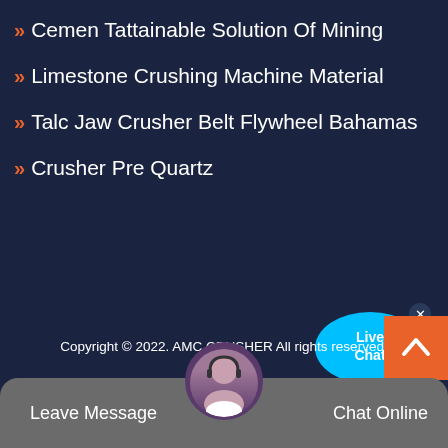Cemen Tattainable Solution Of Mining
Limestone Crushing Machine Material
Talc Jaw Crusher Belt Flywheel Bahamas
Crusher Pre Quartz
[Figure (illustration): Live Chat speech bubble widget with blue color and white text saying 'Live Chat', with a close X button]
Copyright © 2022. AMC CRUSHER All rights reserved.
Sitemap
[Figure (illustration): Orange back-to-top button with upward chevron arrow]
[Figure (illustration): Grey bottom bar with Leave Message on left, Chat Online on right, and circular avatar of a customer support agent in center]